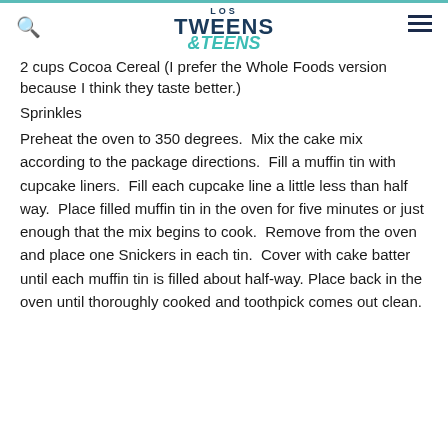LOS TWEENS & TEENS
2 cups Cocoa Cereal (I prefer the Whole Foods version because I think they taste better.)
Sprinkles
Preheat the oven to 350 degrees.  Mix the cake mix according to the package directions.  Fill a muffin tin with cupcake liners.  Fill each cupcake line a little less than half way.  Place filled muffin tin in the oven for five minutes or just enough that the mix begins to cook.  Remove from the oven and place one Snickers in each tin.  Cover with cake batter until each muffin tin is filled about half-way. Place back in the oven until thoroughly cooked and toothpick comes out clean.